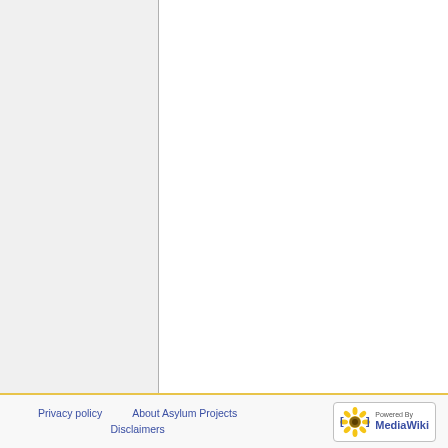Privacy policy   About Asylum Projects   Disclaimers   Powered By MediaWiki